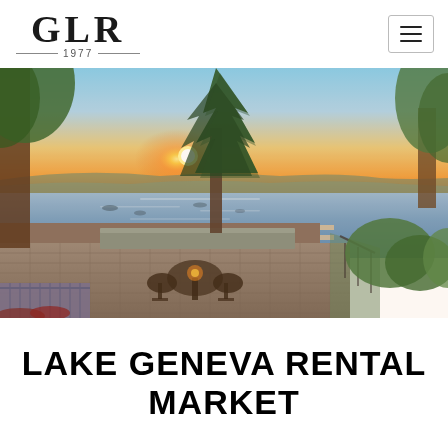GLR 1977
[Figure (photo): Lakefront scenic photo at sunset showing a patio with wrought iron furniture on a brick paver deck, a tall pine tree in the center, a wooden dock extending into the lake with boats moored, lush green trees on the right, and a warm golden sunset over the water and distant shoreline.]
LAKE GENEVA RENTAL MARKET